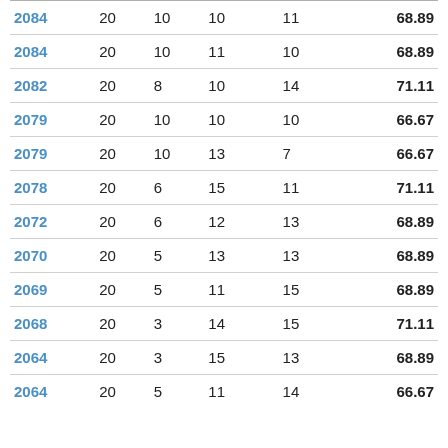| ID | Col2 | Col3 | Col4 | Col5 | Pct |
| --- | --- | --- | --- | --- | --- |
| 2084 | 20 | 10 | 10 | 11 | 68.89 |
| 2084 | 20 | 10 | 11 | 10 | 68.89 |
| 2082 | 20 | 8 | 10 | 14 | 71.11 |
| 2079 | 20 | 10 | 10 | 10 | 66.67 |
| 2079 | 20 | 10 | 13 | 7 | 66.67 |
| 2078 | 20 | 6 | 15 | 11 | 71.11 |
| 2072 | 20 | 6 | 12 | 13 | 68.89 |
| 2070 | 20 | 5 | 13 | 13 | 68.89 |
| 2069 | 20 | 5 | 11 | 15 | 68.89 |
| 2068 | 20 | 3 | 14 | 15 | 71.11 |
| 2064 | 20 | 3 | 15 | 13 | 68.89 |
| 2064 | 20 | 5 | 11 | 14 | 66.67 |